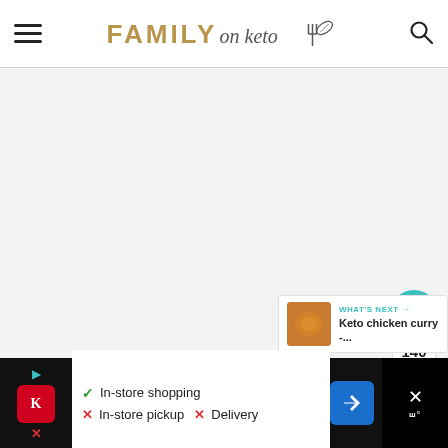FAMILY on keto
[Figure (screenshot): Large blank/grey content area — main article body not loaded]
[Figure (infographic): Social sharing sidebar: heart button with 140 count, share button, Privacy · Terms text]
[Figure (infographic): What's Next panel with teal arrow and text 'WHAT'S NEXT → Keto chicken curry -...' with thumbnail]
[Figure (screenshot): Advertisement bar: Kroger ad with In-store shopping checkmark, In-store pickup X, Delivery X, navigation arrow icon, and right panel with X close button]